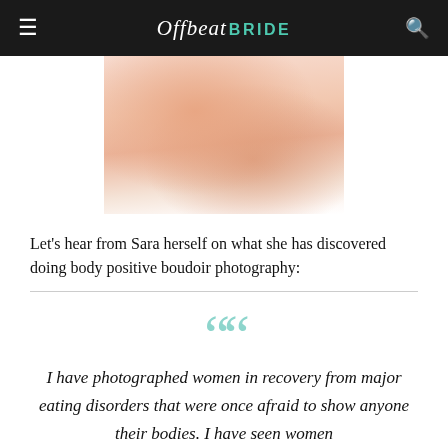Offbeat BRIDE
[Figure (photo): Close-up blurred photo of a woman's torso/body, soft skin tones in peach and pink, white background, boudoir photography style]
Let's hear from Sara herself on what she has discovered doing body positive boudoir photography:
I have photographed women in recovery from major eating disorders that were once afraid to show anyone their bodies. I have seen women